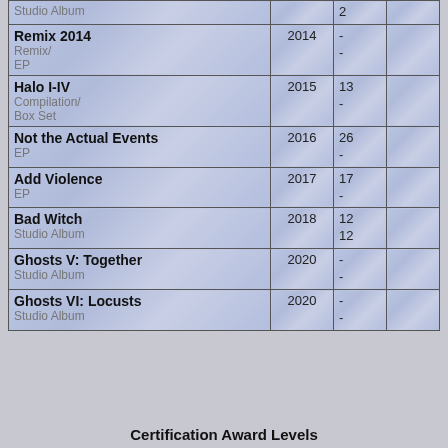| Album | Year | Chart |  |
| --- | --- | --- | --- |
| Studio Album |  | 2 |  |
| Remix 2014
Remix/EP | 2014 | -
- |  |
| Halo I-IV
Compilation/Box Set | 2015 | 13
- |  |
| Not the Actual Events
EP | 2016 | 26
- |  |
| Add Violence
EP | 2017 | 17
- |  |
| Bad Witch
Studio Album | 2018 | 12
12 |  |
| Ghosts V: Together
Studio Album | 2020 | -
- |  |
| Ghosts VI: Locusts
Studio Album | 2020 | -
- |  |
Certification Award Levels